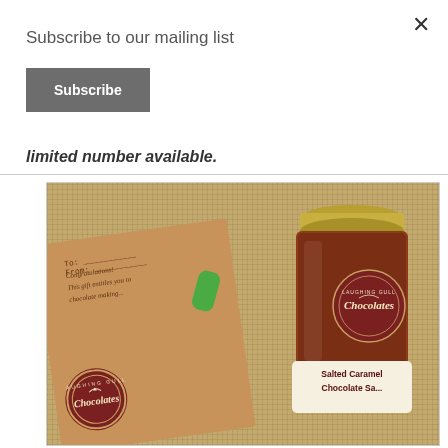Subscribe to our mailing list
Subscribe
limited number available.
[Figure (photo): A jar of Laughing Gull Chocolates Salted Caramel Chocolate Sauce with a kraft paper gift tag attached with a green ribbon, on a burlap background. The jar has a gold lid and a label with the Laughing Gull Chocolates logo. The gift tag reads 'To:', 'From:', 'Congratulations! This gift entitles you to chocolate making...' and also has the Laughing Gull Chocolates circular logo.]